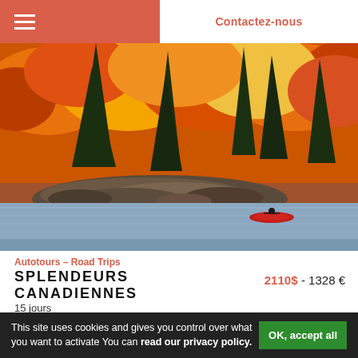Contactez-nous
[Figure (photo): Autumn forest with orange and red foliage reflected in a calm lake; a person in a red kayak paddles in the foreground; rocky shoreline with pine trees.]
Autotours - Road Trips
SPLENDEURS CANADIENNES
15 jours
2110$ - 1328 €
This site uses cookies and gives you control over what you want to activate You can read our privacy policy. OK, accept all